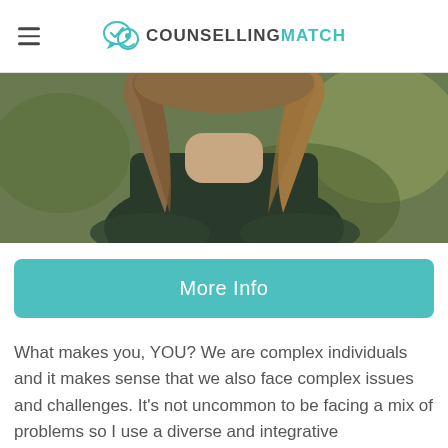COUNSELLINGMATCH
[Figure (photo): Close-up photo of a person with shoulder-length blonde-brown hair wearing a dark green/black sweater, photographed from the neck down, with a blurred green outdoor background.]
More Info
What makes you, YOU? We are complex individuals and it makes sense that we also face complex issues and challenges. It's not uncommon to be facing a mix of problems so I use a diverse and integrative